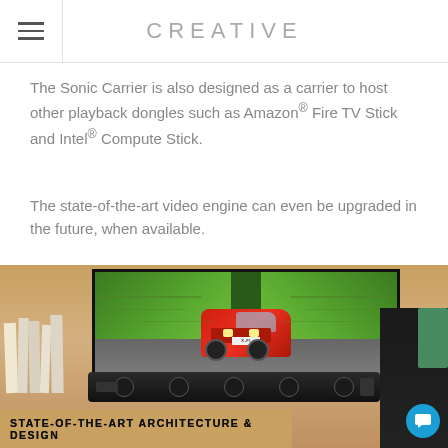CREATIVE
The Sonic Carrier is also designed as a carrier to host other playback dongles such as Amazon® Fire TV Stick and Intel® Compute Stick.
The state-of-the-art video engine can even be upgraded in the future, when available.
[Figure (photo): Creative Sonic Carrier soundbar on a wooden shelf below a TV displaying a red sports car with X-FI license plate driving on a road, with books on the left side]
STATE-OF-THE-ART ARCHITECTURE & DESIGN